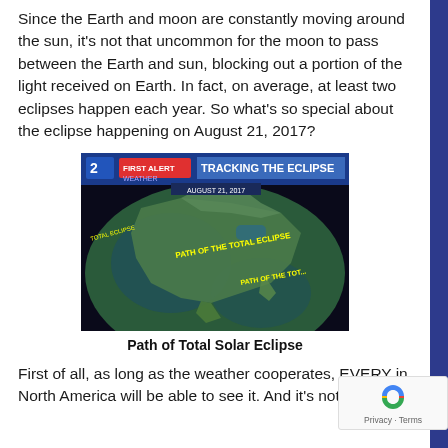Since the Earth and moon are constantly moving around the sun, it's not that uncommon for the moon to pass between the Earth and sun, blocking out a portion of the light received on Earth. In fact, on average, at least two eclipses happen each year. So what's so special about the eclipse happening on August 21, 2017?
[Figure (map): TV news screenshot showing a map of North America with the path of the total solar eclipse marked across it. Header reads 'NBC 2 FIRST ALERT WEATHER - TRACKING THE ECLIPSE - AUGUST 21, 2017'. Text on map reads 'PATH OF THE TOTAL ECLIPSE' and 'PATH OF THE TOT...' in yellow.]
Path of Total Solar Eclipse
First of all, as long as the weather cooperates, EVERY in North America will be able to see it. And it's not just a